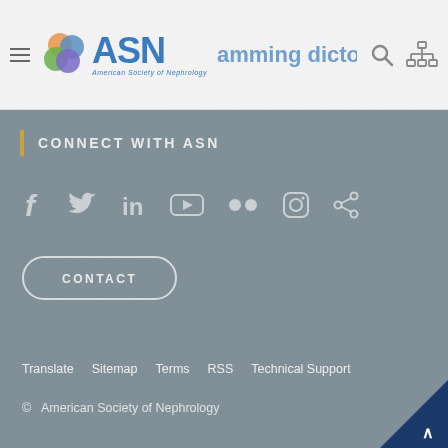[Figure (logo): ASN American Society of Nephrology logo with colorful circular icon and blue ASN text, plus hamburger menu and partial heading text in header]
CONNECT WITH ASN
[Figure (infographic): Social media icons row: Facebook, Twitter, LinkedIn, YouTube, Flickr, Instagram, Share]
CONTACT
Translate  Sitemap  Terms  RSS  Technical Support
© American Society of Nephrology